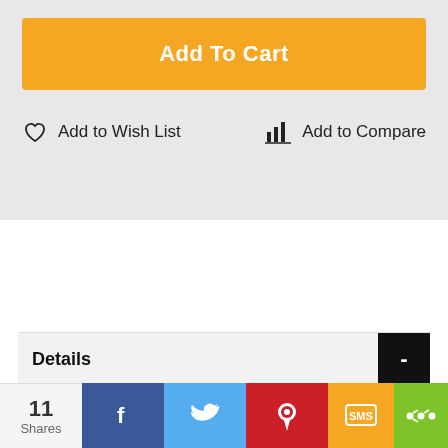Add To Cart
Add to Wish List
Add to Compare
Details
11 Shares